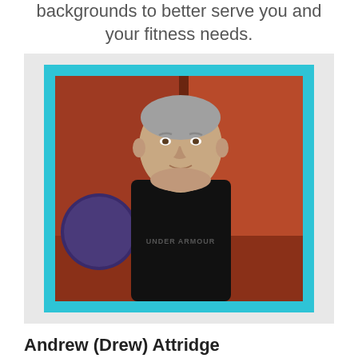backgrounds to better serve you and your fitness needs.
[Figure (photo): Headshot of Andrew (Drew) Attridge, a middle-aged man in a black Under Armour shirt, with a cyan/teal border, set against a grey background panel.]
Andrew (Drew) Attridge
Drew has been involved in the fitness industry for 20+ years and has been a personal trainer for 25 years. He founded Trueform Health & Fitness in 1995. He holds the following certifications: Poliquin International, C.A.I.N. (Canadian Aerobics Instruction